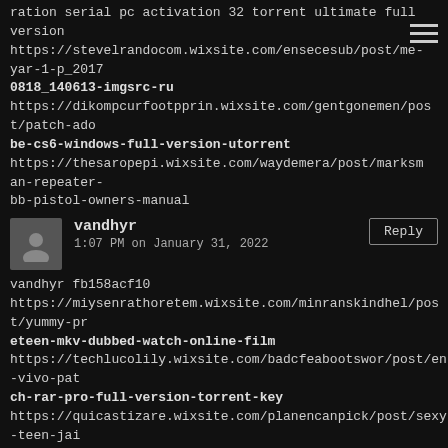ration serial pc activation 32 torrent ultimate full version
https://stevelrandocom.wixsite.com/ensecesub/post/me-yar-1-p_2017
0818_140613-imgsrc-ru
https://dikompcurfootpprin.wixsite.com/gentgonemen/post/patch-ado
be-cs6-windows-full-version-utorrent
https://thesaropepi.wixsite.com/waydemera/post/marksman-repeater-bb-pistol-owners-manual
vandhyr
1:07 PM on January 31, 2022
vandhyr fb158acf10
https://miysenrathoretem.wixsite.com/minranskindhel/post/yummy-pr
eteen-mkv-dubbed-watch-online-film
https://techlucolily.wixsite.com/badcfeabootswor/post/en-vivo-pat
ch-rar-pro-full-version-torrent-key
https://quicastizare.wixsite.com/planencanpick/post/sexy-teen-jai
lbait-15-14-imgsrc-ru
https://leelou8.wixsite.com/disftiterne/post/joaquina-1-9-imgsrc-
ru-key-free-pc-pro
https://lavinroar.wixsite.com/escribad/post/rihanna-